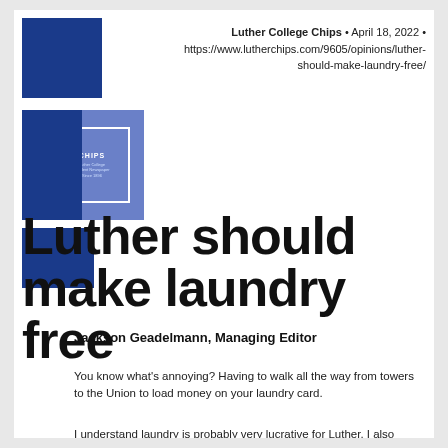[Figure (logo): Luther College Chips logo with dark blue and light blue squares and CHIPS text]
Luther College Chips • April 18, 2022 • https://www.lutherchips.com/9605/opinions/luther-should-make-laundry-free/
Luther should make laundry free
Jackson Geadelmann, Managing Editor
You know what's annoying? Having to walk all the way from towers to the Union to load money on your laundry card.
I understand laundry is probably very lucrative for Luther. I also understand that this college needs money to function, and that laundry